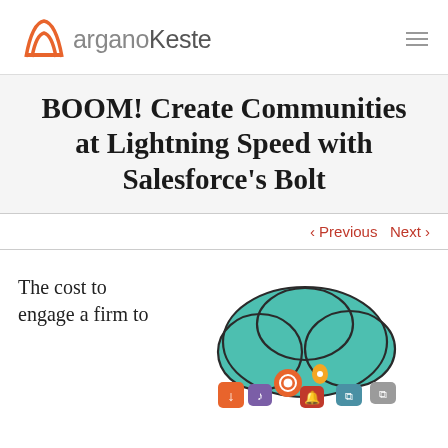arganoKeste
BOOM! Create Communities at Lightning Speed with Salesforce's Bolt
< Previous   Next >
The cost to engage a firm to
[Figure (illustration): A teal cloud shape with various colorful app/service icons below it, representing cloud-based community and connectivity services.]